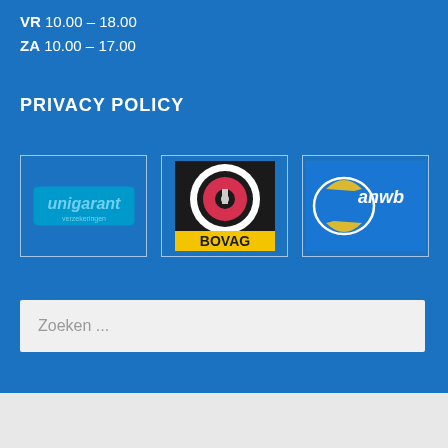VR 10.00 – 18.00
ZA 10.00 – 17.00
PRIVACY POLICY
[Figure (logo): Unigarant verzekeringen logo - blue rectangle with light blue Unigarant text]
[Figure (logo): BOVAG logo - circular black and white target icon above yellow BOVAG text on black/yellow background]
[Figure (logo): ANWB logo - blue background with arrow/compass icon and anwb text with yellow/gold elements]
Zoeken ...